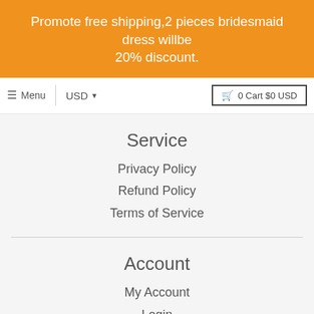Promote free shipping,2 pieces bridesmaid dress willbe 20% discount.
Menu | USD ▼ | 0 Cart $0 USD
Service
Privacy Policy
Refund Policy
Terms of Service
Account
My Account
Login
Register
Chat with us
Newsletter